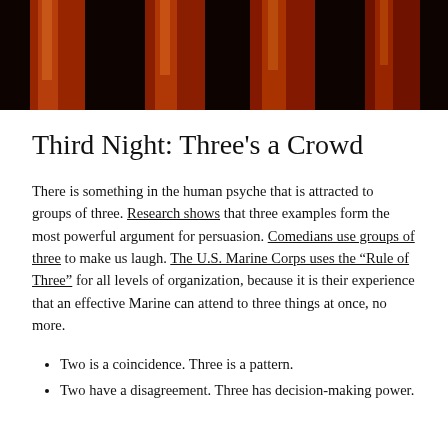[Figure (photo): Dark background photo showing tall orange-red glowing candles or columns against a very dark background]
Third Night: Three's a Crowd
There is something in the human psyche that is attracted to groups of three. Research shows that three examples form the most powerful argument for persuasion. Comedians use groups of three to make us laugh. The U.S. Marine Corps uses the “Rule of Three” for all levels of organization, because it is their experience that an effective Marine can attend to three things at once, no more.
Two is a coincidence. Three is a pattern.
Two have a disagreement. Three has decision-making power.